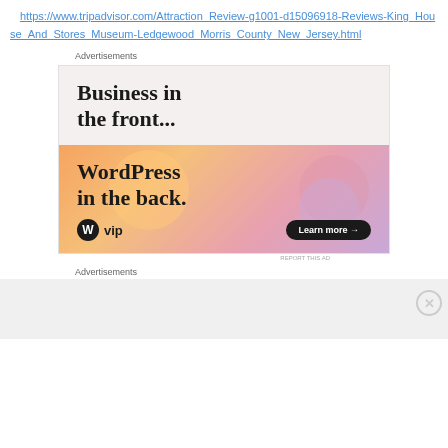https://www.tripadvisor.com/Attraction_Review-g1001-d15096918-Reviews-King_House_And_Stores_Museum-Ledgewood_Morris_County_New_Jersey.html
Advertisements
[Figure (screenshot): WordPress VIP advertisement banner: top half shows 'Business in the front...' in bold serif on light pink background; bottom half shows 'WordPress in the back.' on colorful gradient orange/pink/purple background with WordPress VIP logo and 'Learn more' button]
REPORT THIS AD
Advertisements